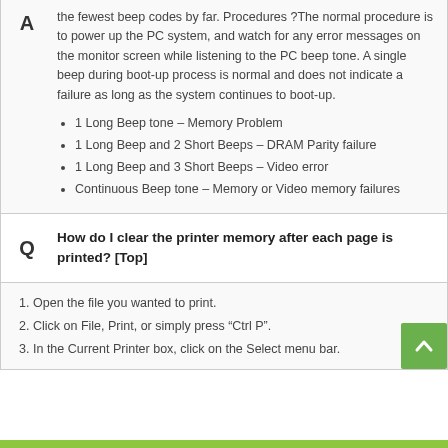the fewest beep codes by far. Procedures ?The normal procedure is to power up the PC system, and watch for any error messages on the monitor screen while listening to the PC beep tone. A single beep during boot-up process is normal and does not indicate a failure as long as the system continues to boot-up.
1 Long Beep tone – Memory Problem
1 Long Beep and 2 Short Beeps – DRAM Parity failure
1 Long Beep and 3 Short Beeps – Video error
Continuous Beep tone – Memory or Video memory failures
How do I clear the printer memory after each page is printed? [Top]
1. Open the file you wanted to print.
2. Click on File, Print, or simply press "Ctrl P".
3. In the Current Printer box, click on the Select menu bar.